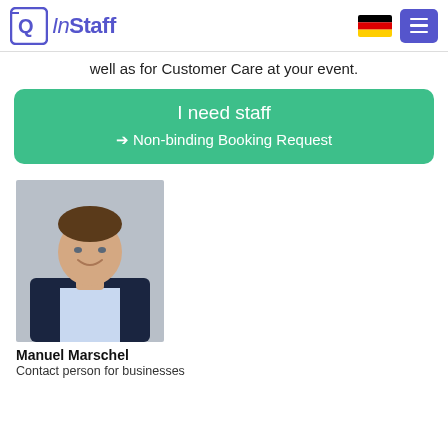InStaff
well as for Customer Care at your event.
I need staff → Non-binding Booking Request
[Figure (photo): Professional headshot of Manuel Marschel, a man in a dark suit with a light blue shirt, smiling against a grey background.]
Manuel Marschel
Contact person for businesses